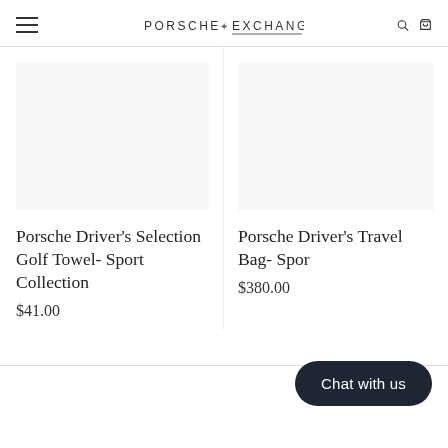PORSCHE EXCHANGE
Porsche Driver's Travel Bag- Spor
$380.00
Porsche Driver's Selection Golf Towel- Sport Collection
$41.00
Chat with us